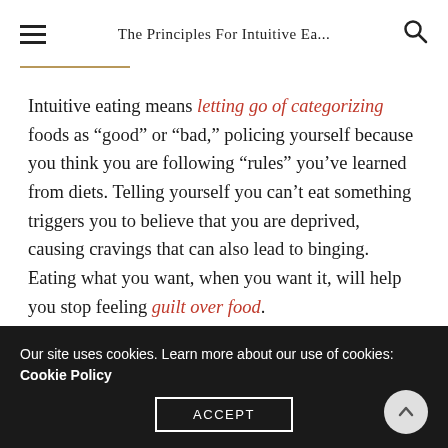The Principles For Intuitive Ea...
Intuitive eating means letting go of categorizing foods as “good” or “bad,” policing yourself because you think you are following “rules” you’ve learned from diets. Telling yourself you can’t eat something triggers you to believe that you are deprived, causing cravings that can also lead to binging. Eating what you want, when you want it, will help you stop feeling guilt over food.
The Satisfaction Factor
Our site uses cookies. Learn more about our use of cookies: Cookie Policy